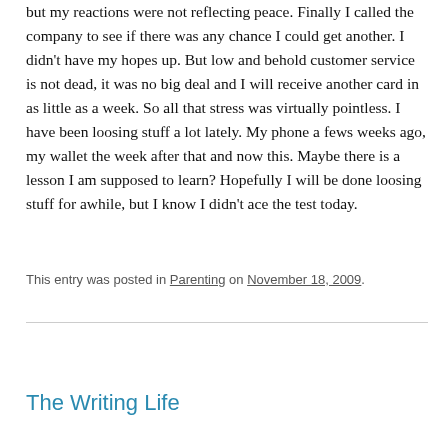but my reactions were not reflecting peace. Finally I called the company to see if there was any chance I could get another. I didn't have my hopes up. But low and behold customer service is not dead, it was no big deal and I will receive another card in as little as a week. So all that stress was virtually pointless. I have been loosing stuff a lot lately. My phone a fews weeks ago, my wallet the week after that and now this. Maybe there is a lesson I am supposed to learn? Hopefully I will be done loosing stuff for awhile, but I know I didn't ace the test today.
This entry was posted in Parenting on November 18, 2009.
The Writing Life